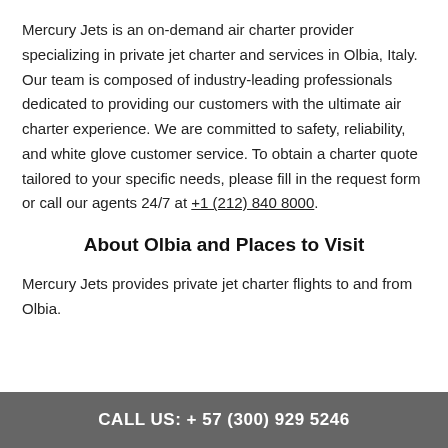Mercury Jets is an on-demand air charter provider specializing in private jet charter and services in Olbia, Italy. Our team is composed of industry-leading professionals dedicated to providing our customers with the ultimate air charter experience. We are committed to safety, reliability, and white glove customer service. To obtain a charter quote tailored to your specific needs, please fill in the request form or call our agents 24/7 at +1 (212) 840 8000.
About Olbia and Places to Visit
Mercury Jets provides private jet charter flights to and from Olbia.
CALL US: + 57 (300) 929  5246